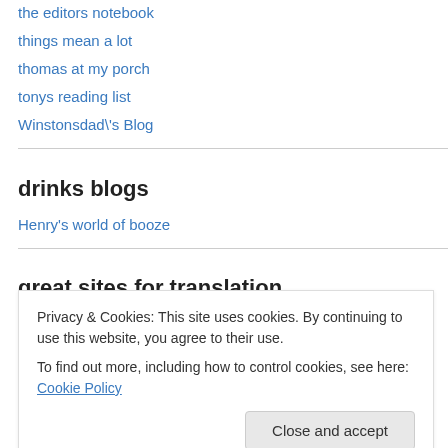the editors notebook
things mean a lot
thomas at my porch
tonys reading list
Winstonsdad\'s Blog
drinks blogs
Henry's world of booze
great sites for translation
Privacy & Cookies: This site uses cookies. By continuing to use this website, you agree to their use.
To find out more, including how to control cookies, see here: Cookie Policy
Close and accept
booktrust translated site